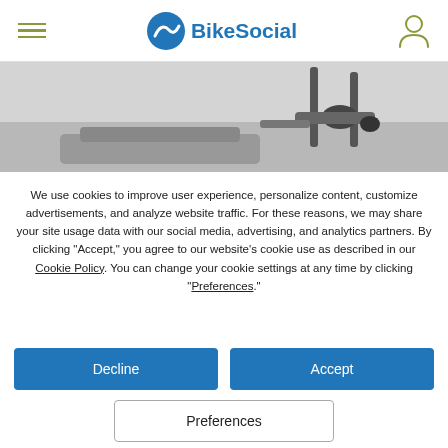BikeSocial
[Figure (photo): Close-up photo of motorcycle handlebars and controls against a light background]
We use cookies to improve user experience, personalize content, customize advertisements, and analyze website traffic. For these reasons, we may share your site usage data with our social media, advertising, and analytics partners. By clicking "Accept," you agree to our website's cookie use as described in our Cookie Policy. You can change your cookie settings at any time by clicking "Preferences."
Decline
Accept
Preferences